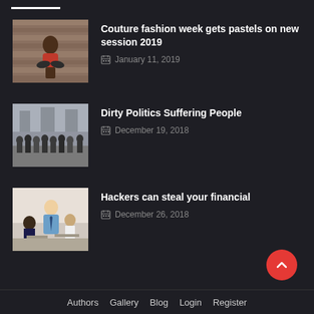[Figure (photo): Top white underline decoration bar]
[Figure (photo): Photo of a young woman sitting cross-legged against a wooden wall background]
Couture fashion week gets pastels on new session 2019
January 11, 2019
[Figure (photo): Photo of a large crowd of people on a city street]
Dirty Politics Suffering People
December 19, 2018
[Figure (photo): Photo of a man in a shirt working with students in a classroom setting]
Hackers can steal your financial
December 26, 2018
Authors  Gallery  Blog  Login  Register